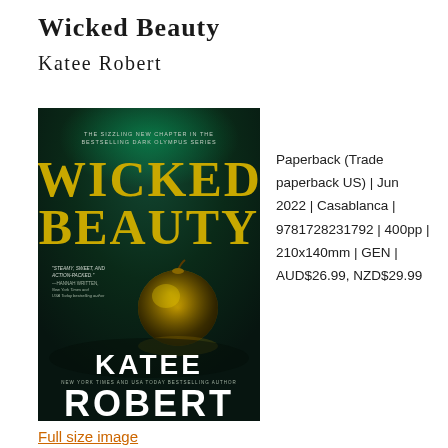Wicked Beauty
Katee Robert
[Figure (illustration): Book cover for 'Wicked Beauty' by Katee Robert. Dark green background with a golden apple in the center. Title in gold lettering, author name in white at the bottom.]
Paperback (Trade paperback US) | Jun 2022 | Casablanca | 9781728231792 | 400pp | 210x140mm | GEN | AUD$26.99, NZD$29.99
Full size image